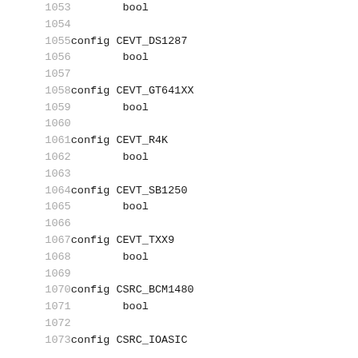1053        bool
1054
1055 config CEVT_DS1287
1056        bool
1057
1058 config CEVT_GT641XX
1059        bool
1060
1061 config CEVT_R4K
1062        bool
1063
1064 config CEVT_SB1250
1065        bool
1066
1067 config CEVT_TXX9
1068        bool
1069
1070 config CSRC_BCM1480
1071        bool
1072
1073 config CSRC_IOASIC